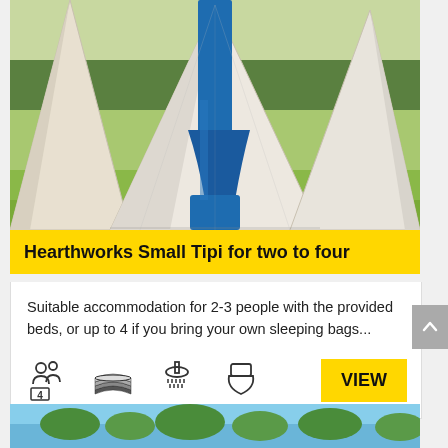[Figure (photo): Outdoor photo of white tipi tents on a grassy field with a blue equipment cover or flue pipe visible between the tipis, green trees in background]
Hearthworks Small Tipi for two to four
Suitable accommodation for 2-3 people with the provided beds, or up to 4 if you bring your own sleeping bags...
[Figure (infographic): Row of icons: people/capacity icon with number 4, bedding/sleeping bags icon, shower icon, toilet icon, and a yellow VIEW button]
[Figure (photo): Bottom portion of another listing showing a blue sky with green trees, partially visible]